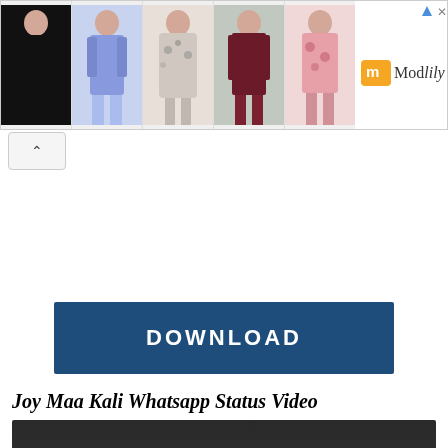[Figure (screenshot): Modlily clothing advertisement banner showing 5 women's clothing items and the Modlily logo]
[Figure (screenshot): Collapse/hide advertisement button with upward arrow]
[Figure (screenshot): Dark blue DOWNLOAD button]
Joy Maa Kali Whatsapp Status Video
[Figure (screenshot): Video player showing dark/black screen with playback controls at bottom showing 0:00 timestamp]